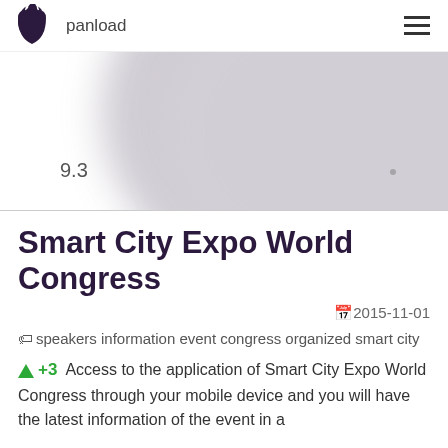panload
[Figure (continuous-plot): Blurred/greyed donut or pie chart segment showing rating value 9.3, rendered in light grey with soft edges]
Smart City Expo World Congress
2015-11-01
speakers information event congress organized smart city
+3  Access to the application of Smart City Expo World Congress through your mobile device and you will have the latest information of the event in a